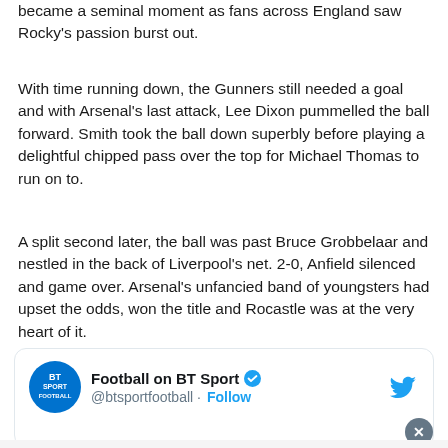became a seminal moment as fans across England saw Rocky's passion burst out.
With time running down, the Gunners still needed a goal and with Arsenal's last attack, Lee Dixon pummelled the ball forward. Smith took the ball down superbly before playing a delightful chipped pass over the top for Michael Thomas to run on to.
A split second later, the ball was past Bruce Grobbelaar and nestled in the back of Liverpool's net. 2-0, Anfield silenced and game over. Arsenal's unfancied band of youngsters had upset the odds, won the title and Rocastle was at the very heart of it.
[Figure (screenshot): Embedded tweet card from Football on BT Sport (@btsportfootball) with verified badge and Follow button, Twitter bird logo top right, close button bottom right.]